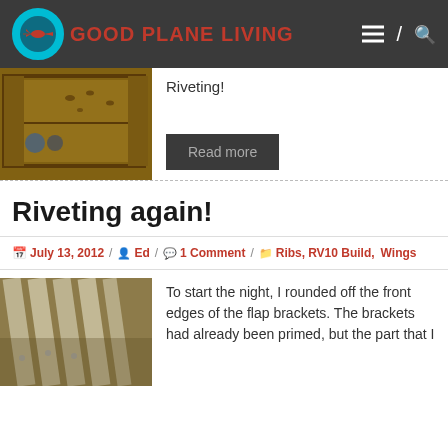GOOD PLANE LIVING
Riveting!
Read more
Riveting again!
July 13, 2012 / Ed / 1 Comment / Ribs, RV10 Build, Wings
[Figure (photo): Photo of aircraft parts/flap brackets]
To start the night, I rounded off the front edges of the flap brackets. The brackets had already been primed, but the part that I